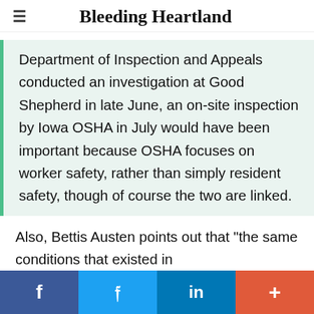Bleeding Heartland
Department of Inspection and Appeals conducted an investigation at Good Shepherd in late June, an on-site inspection by Iowa OSHA in July would have been important because OSHA focuses on worker safety, rather than simply resident safety, though of course the two are linked.
Also, Bettis Austen points out that "the same conditions that existed in